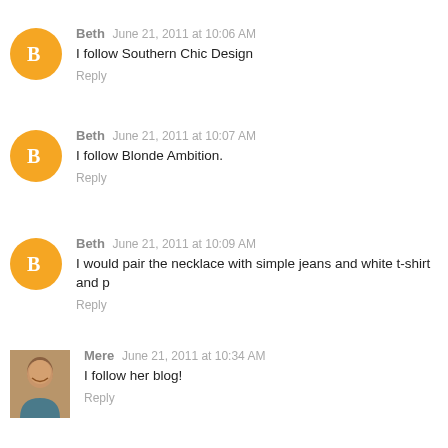Beth  June 21, 2011 at 10:06 AM
I follow Southern Chic Design
Reply
Beth  June 21, 2011 at 10:07 AM
I follow Blonde Ambition.
Reply
Beth  June 21, 2011 at 10:09 AM
I would pair the necklace with simple jeans and white t-shirt and p
Reply
Mere  June 21, 2011 at 10:34 AM
I follow her blog!
Reply